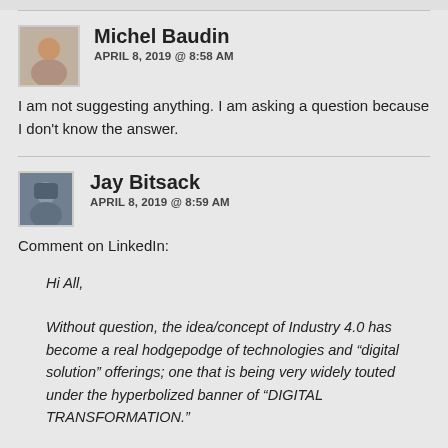[Figure (photo): Avatar photo of Michel Baudin]
Michel Baudin
APRIL 8, 2019 @ 8:58 AM
I am not suggesting anything. I am asking a question because I don't know the answer.
[Figure (photo): Avatar photo of Jay Bitsack]
Jay Bitsack
APRIL 8, 2019 @ 8:59 AM
Comment on LinkedIn:
Hi All,

Without question, the idea/concept of Industry 4.0 has become a real hodgepodge of technologies and “digital solution” offerings; one that is being very widely touted under the hyperbolized banner of “DIGITAL TRANSFORMATION.”